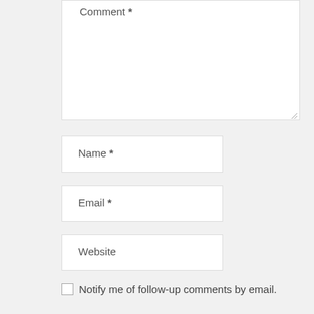Comment *
Name *
Email *
Website
Notify me of follow-up comments by email.